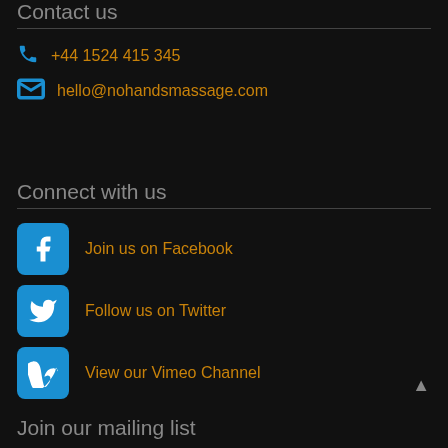Contact us
+44 1524 415 345
hello@nohandsmassage.com
Connect with us
Join us on Facebook
Follow us on Twitter
View our Vimeo Channel
Join our mailing list